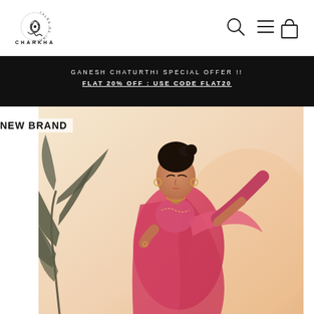[Figure (logo): Charkha Tales of India logo - decorative knot emblem with text CHARKHA below]
[Figure (illustration): Navigation icons: search (magnifying glass), hamburger menu, shopping bag]
GANESH CHATURTHI SPECIAL OFFER !! FLAT 20% OFF : USE CODE FLAT20
[Figure (photo): Woman wearing a pink/red saree with embroidery, hair up, jewelry, standing next to a tropical plant on a cream/peach background. Label 'NEW BRAND' overlaid top left.]
NEW BRAND